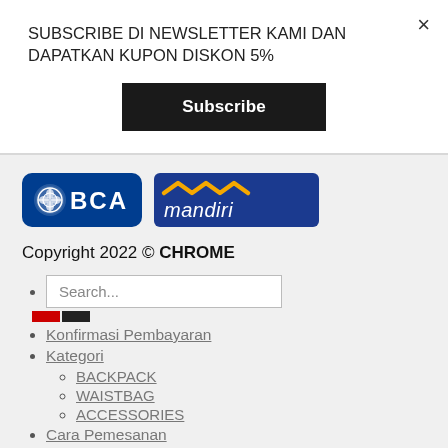SUBSCRIBE DI NEWSLETTER KAMI DAN DAPATKAN KUPON DISKON 5%
Subscribe
[Figure (logo): BCA bank logo - blue rounded rectangle with BCA text and leaf icon]
[Figure (logo): Mandiri bank logo - dark blue rectangle with yellow wave and mandiri text]
Copyright 2022 © CHROME
Search...
Konfirmasi Pembayaran
Kategori
BACKPACK
WAISTBAG
ACCESSORIES
Cara Pemesanan
Login